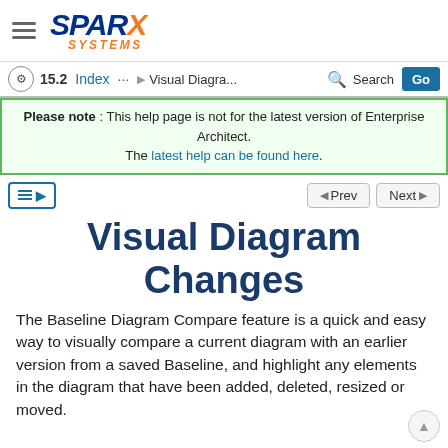Sparx Systems — Visual Diagram Changes help page, version 15.2
Please note : This help page is not for the latest version of Enterprise Architect. The latest help can be found here.
Visual Diagram Changes
The Baseline Diagram Compare feature is a quick and easy way to visually compare a current diagram with an earlier version from a saved Baseline, and highlight any elements in the diagram that have been added, deleted, resized or moved.